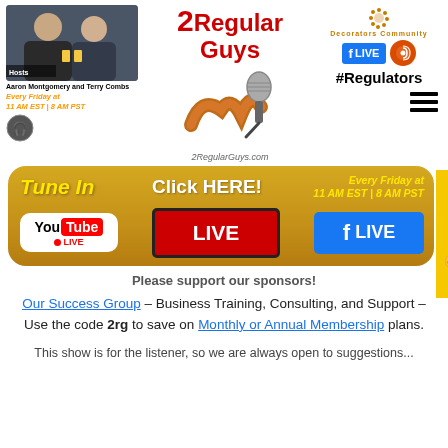[Figure (photo): Photo of two men (podcast hosts) with drinks, Aaron Montgomery and Terry Combs]
Aaron Montgomery and Terry Combs
Every Friday at 11 AM EST | 8 AM PST
[Figure (logo): 2 Regular Guys podcast logo with bacon and microphone graphic, text: 2RegularGuys.com]
[Figure (logo): Decorators Community logo with Facebook LIVE button, podcast icon, and #Regulators text]
[Figure (infographic): Gold banner: Tune In, Click HERE!, Every Friday at 11 AM EST | 8 AM PST, YouTube LIVE, LIVE red button, Facebook LIVE button, Feedback tab]
Please support our sponsors!
Our Success Group – Business Training, Consulting, and Support – Use the code 2rg to save on Monthly or Annual Membership plans.
This show is for the listener, so we are always open to suggestions...